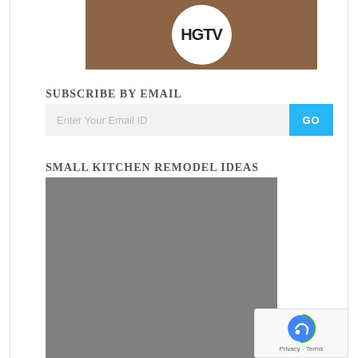[Figure (logo): HGTV logo on outdoor background with trees and brown ground]
SUBSCRIBE BY EMAIL
[Figure (screenshot): Email subscription input field with placeholder 'Enter Your Email ID' and blue GO button]
SMALL KITCHEN REMODEL IDEAS
[Figure (photo): Gray placeholder image for small kitchen remodel ideas]
[Figure (other): reCAPTCHA badge with Privacy and Terms links]